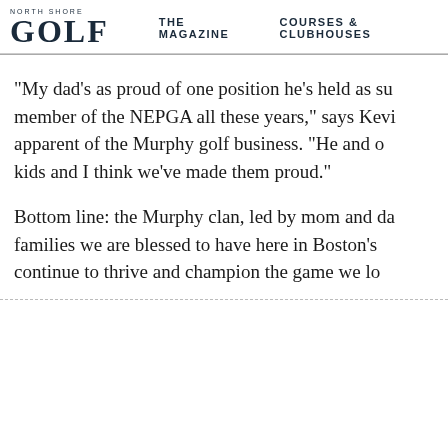NORTH SHORE GOLF | THE MAGAZINE | COURSES & CLUBHOUSES
“My dad’s as proud of one position he’s held assu… member of the NEPGA all these years,” says Kevi… apparent of the Murphy golf business. “He and o… kids and I think we’ve made them proud.”
Bottom line: the Murphy clan, led by mom and da… families we are blessed to have here in Boston’s… continue to thrive and champion the game we lo…